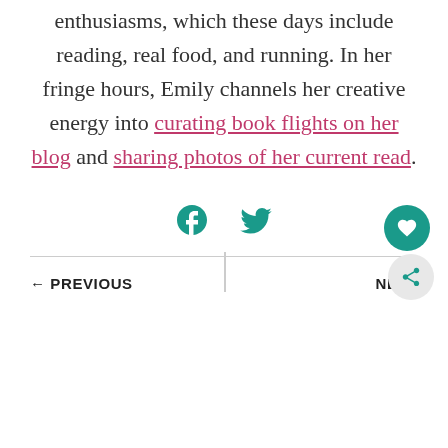enthusiasms, which these days include reading, real food, and running. In her fringe hours, Emily channels her creative energy into curating book flights on her blog and sharing photos of her current read.
[Figure (infographic): Social media share icons: Facebook and Twitter in teal color]
← PREVIOUS   NEXT